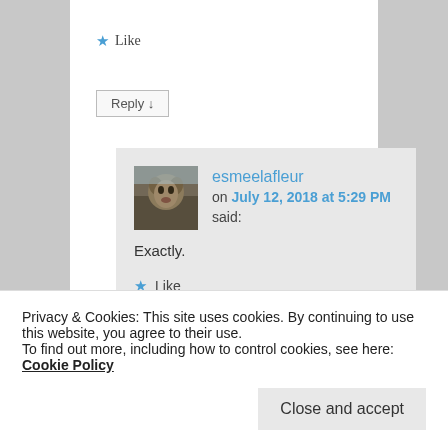★ Like
Reply ↓
esmeelafleur on July 12, 2018 at 5:29 PM said:
Exactly.
★ Like
Privacy & Cookies: This site uses cookies. By continuing to use this website, you agree to their use.
To find out more, including how to control cookies, see here: Cookie Policy
Close and accept